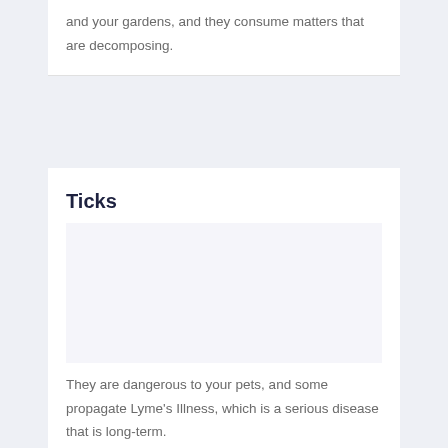and your gardens, and they consume matters that are decomposing.
Ticks
[Figure (photo): Image placeholder area for ticks content]
They are dangerous to your pets, and some propagate Lyme's Illness, which is a serious disease that is long-term.